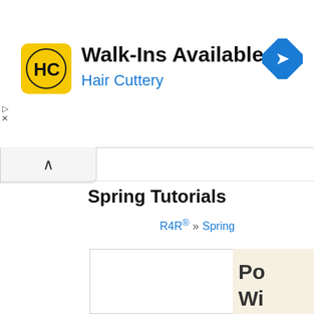[Figure (screenshot): Advertisement banner for Hair Cuttery showing logo, 'Walk-Ins Available' headline, blue subtitle 'Hair Cuttery', a Google Maps direction icon on the right, and small play/close controls on the left side.]
Spring Tutorials
R4R® >> Spring
Po Wi
Op
Po